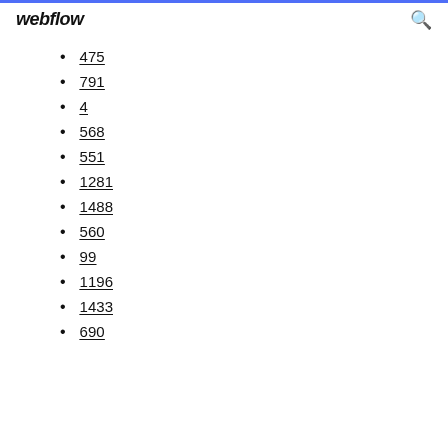webflow
475
791
4
568
551
1281
1488
560
99
1196
1433
690